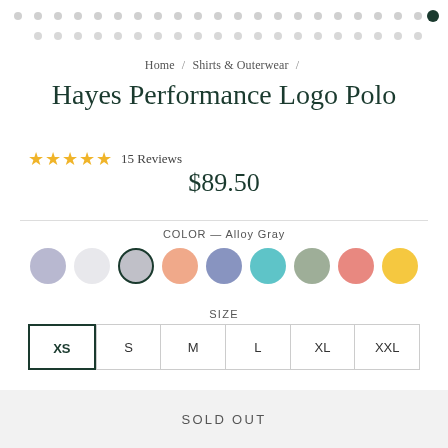[Figure (infographic): Decorative dot pattern header with two rows of small circles, one dark filled circle at top right]
Home / Shirts & Outerwear /
Hayes Performance Logo Polo
★★★★★ 15 Reviews
$89.50
COLOR — Alloy Gray
[Figure (other): Nine color swatches in circles: lavender, white/light gray, gray (selected with dark border), peach, blue, teal, sage green, coral/red, yellow]
SIZE
XS  S  M  L  XL  XXL
SOLD OUT